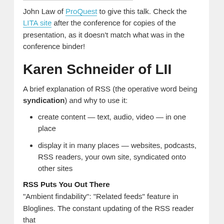John Law of ProQuest to give this talk. Check the LITA site after the conference for copies of the presentation, as it doesn't match what was in the conference binder!
Karen Schneider of LII
A brief explanation of RSS (the operative word being syndication) and why to use it:
create content — text, audio, video — in one place
display it in many places — websites, podcasts, RSS readers, your own site, syndicated onto other sites
RSS Puts You Out There
"Ambient findability": "Related feeds" feature in Bloglines. The constant updating of the RSS reader that